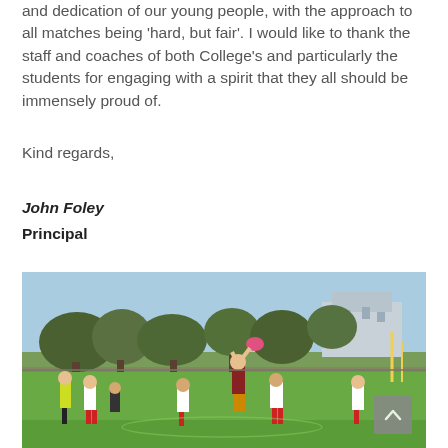and dedication of our young people, with the approach to all matches being 'hard, but fair'. I would like to thank the staff and coaches of both College's and particularly the students for engaging with a spirit that they all should be immensely proud of.
Kind regards,
John Foley
Principal
[Figure (photo): Outdoor Australian rules football game on a green oval, with students in white and red uniforms playing. One player jumps to catch a pink football. Trees and buildings visible in the background.]